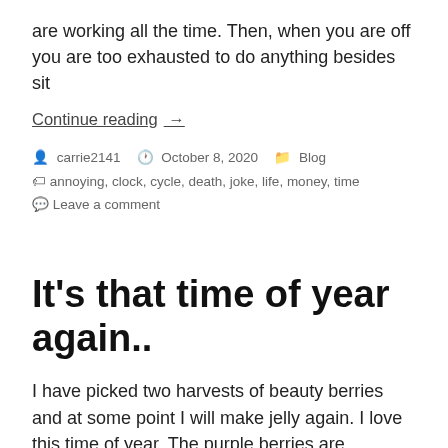are working all the time. Then, when you are off you are too exhausted to do anything besides sit
Continue reading →
carrie2141  October 8, 2020  Blog
annoying, clock, cycle, death, joke, life, money, time
Leave a comment
It's that time of year again..
I have picked two harvests of beauty berries and at some point I will make jelly again. I love this time of year. The purple berries are absolutely beautiful. I typically right the first two weeks when the weather is cool